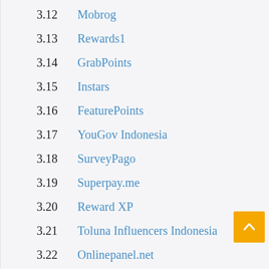3.12  Mobrog
3.13  Rewards1
3.14  GrabPoints
3.15  Instars
3.16  FeaturePoints
3.17  YouGov Indonesia
3.18  SurveyPago
3.19  Superpay.me
3.20  Reward XP
3.21  Toluna Influencers Indonesia
3.22  Onlinepanel.net